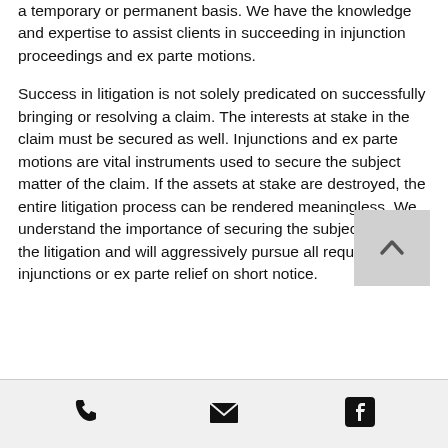a temporary or permanent basis. We have the knowledge and expertise to assist clients in succeeding in injunction proceedings and ex parte motions.
Success in litigation is not solely predicated on successfully bringing or resolving a claim. The interests at stake in the claim must be secured as well. Injunctions and ex parte motions are vital instruments used to secure the subject matter of the claim. If the assets at stake are destroyed, the entire litigation process can be rendered meaningless. We understand the importance of securing the subject matter of the litigation and will aggressively pursue all required injunctions or ex parte relief on short notice.
[Figure (other): Back to top button with upward arrow chevron]
[Figure (other): Footer bar with three icons: phone, email envelope, and Facebook logo]